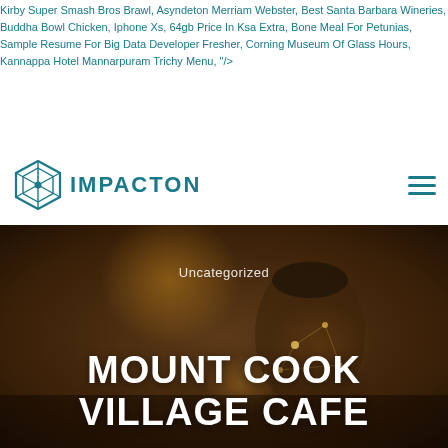Kirby Super Smash Bros Brawl, Asyndeton Merriam Webster, Best Santa Barbara Wineries, Buddha Bowl Chicken, Iphone Xs, 64gb Price In Ksa Extra, Bone Meal For Petunias, Sample Resume For Big Data Developer Fresher, Corning Museum Of Glass Hours, Kannappa Hotel Mannarpuram Trichy Menu, "/>
[Figure (logo): Impacton logo with hexagonal geometric icon in teal/dark cyan color and the text IMPACTON in bold uppercase letters]
[Figure (photo): Dark moody background photo showing a glass jar with bokeh lights, serving as hero banner background]
Uncategorized
MOUNT COOK VILLAGE CAFE